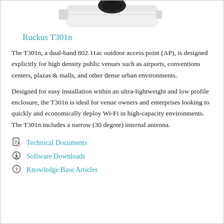[Figure (photo): Top portion of Ruckus T301n outdoor access point device, white enclosure with dark sensor/camera on top]
Ruckus T301n
The T301n, a dual-band 802.11ac outdoor access point (AP), is designed explicitly for high density public venues such as airports, conventions centers, plazas & malls, and other dense urban environments.
Designed for easy installation within an ultra-lightweight and low profile enclosure, the T301n is ideal for venue owners and enterprises looking to quickly and economically deploy Wi-Fi in high-capacity environments. The T301n includes a narrow (30 degree) internal antenna.
Technical Documents
Software Downloads
Knowledge Base Articles